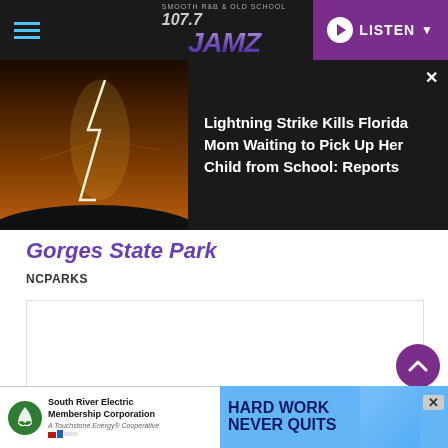107.7 JAMZ — SMOOTH R&B & OLD SCHOOL — LISTEN
[Figure (screenshot): Notification popup showing lightning strike photo and headline: Lightning Strike Kills Florida Mom Waiting to Pick Up Her Child from School: Reports]
Gorges State Park
NCPARKS
[Figure (other): White content box placeholder area]
[Figure (other): Advertisement banner: South River Electric Membership Corporation — HARD WORK NEVER QUITS]